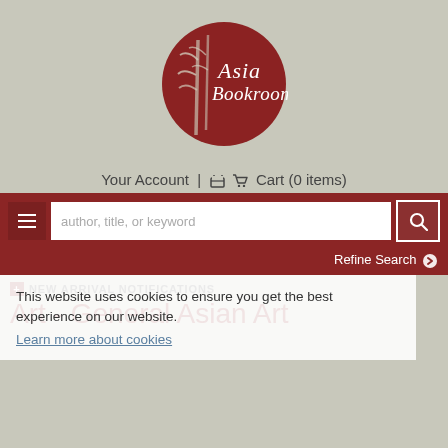[Figure (logo): Asia Bookroom logo: dark red circle with white bamboo illustration and 'Asia Bookroom' text in white script/serif font]
Your Account  |  Cart (0 items)
author, title, or keyword
Refine Search
NEW ARRIVAL NOTIFICATIONS
Art - General Asian Art
This website uses cookies to ensure you get the best experience on our website.
Learn more about cookies
ACCEPT COOKIES
Author
Results 1 - 25 (of 41)  Art - General Asian Art